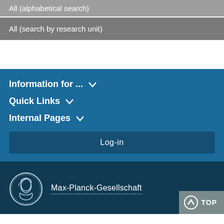All (alphabetical search)
All (search by research unit)
Information for ... ∨
Quick Links ∨
Internal Pages ∨
Log-in
[Figure (logo): Max-Planck-Gesellschaft circular emblem logo with a profile portrait in white outline on dark background]
Max-Planck-Gesellschaft
TOP